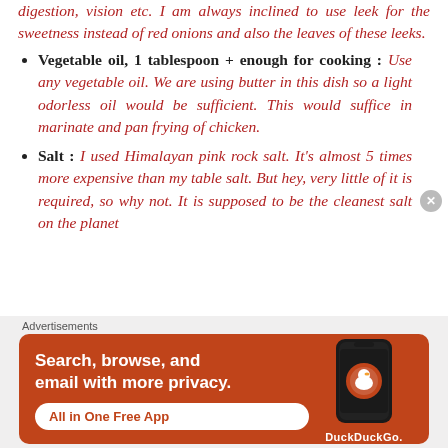digestion, vision etc. I am always inclined to use leek for the sweetness instead of red onions and also the leaves of these leeks.
Vegetable oil, 1 tablespoon + enough for cooking : Use any vegetable oil. We are using butter in this dish so a light odorless oil would be sufficient. This would suffice in marinate and pan frying of chicken.
Salt : I used Himalayan pink rock salt. It's almost 5 times more expensive than my table salt. But hey, very little of it is required, so why not. It is supposed to be the cleanest salt on the planet
[Figure (infographic): DuckDuckGo advertisement banner with orange background showing 'Search, browse, and email with more privacy. All in One Free App' text alongside a phone graphic and DuckDuckGo logo.]